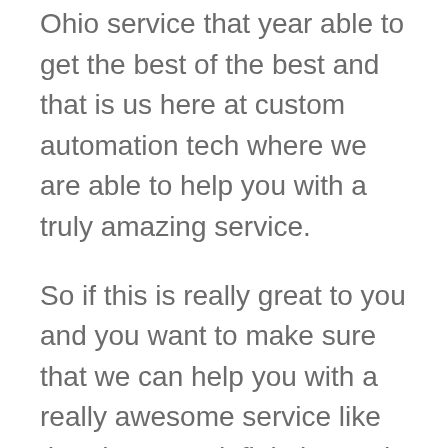Ohio service that year able to get the best of the best and that is us here at custom automation tech where we are able to help you with a truly amazing service.
So if this is really great to you and you want to make sure that we can help you with a really awesome service like that then you definitely need to go ahead and get to the soon as you can. We believe in providing one of our clients with the very best services out there so if you’d like to learn a little bit more about our